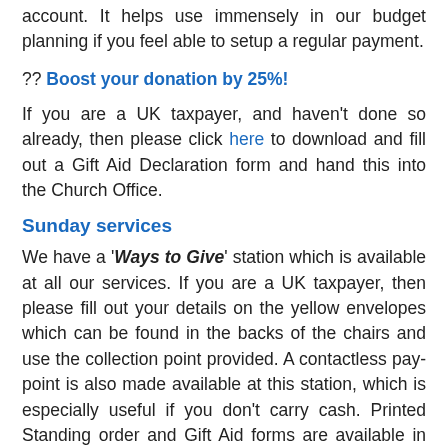account. It helps use immensely in our budget planning if you feel able to setup a regular payment.
?? Boost your donation by 25%!
If you are a UK taxpayer, and haven't done so already, then please click here to download and fill out a Gift Aid Declaration form and hand this into the Church Office.
Sunday services
We have a 'Ways to Give' station which is available at all our services. If you are a UK taxpayer, then please fill out your details on the yellow envelopes which can be found in the backs of the chairs and use the collection point provided. A contactless pay-point is also made available at this station, which is especially useful if you don't carry cash. Printed Standing order and Gift Aid forms are available in the drawers of the station, so please help yourself to these when you visit. An offering is not